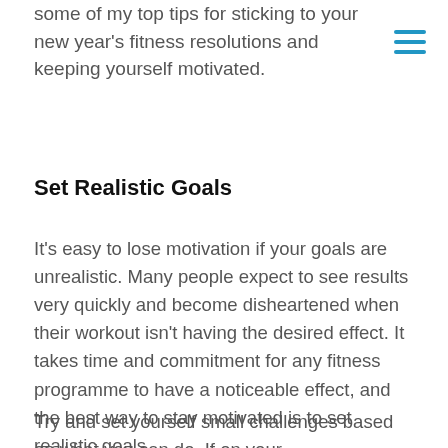some of my top tips for sticking to your new year's fitness resolutions and keeping yourself motivated.
Set Realistic Goals
It's easy to lose motivation if your goals are unrealistic. Many people expect to see results very quickly and become disheartened when their workout isn't having the desired effect. It takes time and commitment for any fitness programme to have a noticeable effect, and the best way to stay motivated is to set realistic goals.
Try and set yourself small challenges based on what you can do. If on your